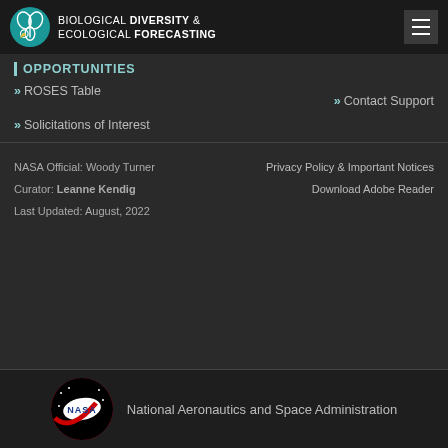BIOLOGICAL DIVERSITY & ECOLOGICAL FORECASTING
OPPORTUNITIES
>> ROSES Table
>> Solicitations of Interest
>> Contact Support
NASA Official: Woody Turner
Curator: Leanne Kendig
Last Updated: August, 2022
Privacy Policy & Important Notices
Download Adobe Reader
National Aeronautics and Space Administration